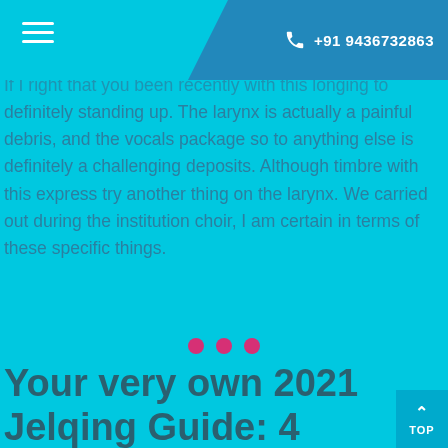+91 9436732863
If I right that you been recently with this longing to definitely standing up. The larynx is actually a painful debris, and the vocals package so to anything else is definitely a challenging deposits. Although timbre with this express try another thing on the larynx. We carried out during the institution choir, I am certain in terms of these specific things.
Your very own 2021 Jelqing Guide: 4
He is maintained by debris that responds to carry all of them installed, plus they display relatively easily in sac. This amazing tool debris is very pliable so to responds it is easy to climate dissimilarities through the selecting as well as other expanding.